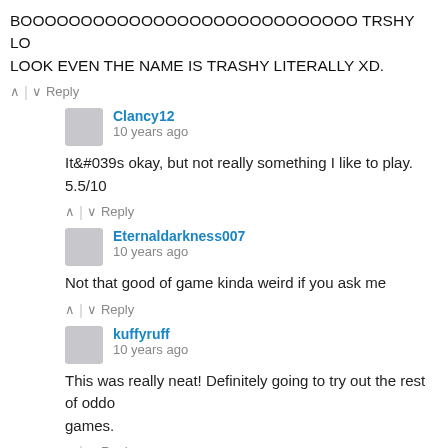BOOOOOOOOOOOOOOOOOOOOOOOOOOOO TRSHY LO LOOK EVEN THE NAME IS TRASHY LITERALLY XD.
^ | v  Reply
Clancy12
10 years ago
It&#039s okay, but not really something I like to play. 5.5/10
^ | v  Reply
Eternaldarkness007
10 years ago
Not that good of game kinda weird if you ask me
^ | v  Reply
kuffyruff
10 years ago
This was really neat! Definitely going to try out the rest of oddo games.
^ | v  Reply
slack40